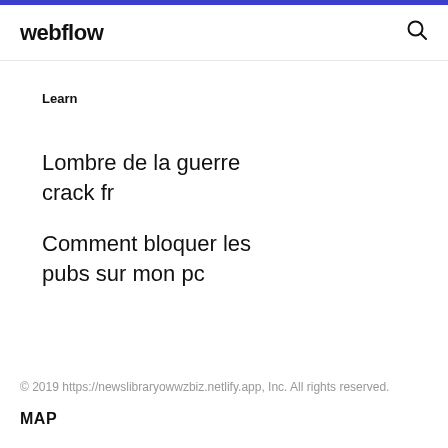webflow
Learn
Lombre de la guerre crack fr
Comment bloquer les pubs sur mon pc
© 2019 https://newslibraryowwzbiz.netlify.app, Inc. All rights reserved.
MAP